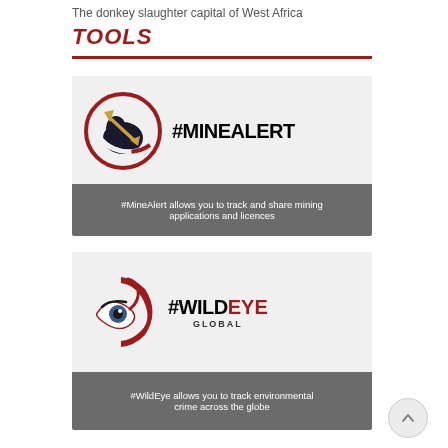The donkey slaughter capital of West Africa
TOOLS
[Figure (logo): #MINEALERT logo with circular icon showing pickaxe and mining figure in red and gold]
#MineAlert allows you to track and share mining applications and licences
[Figure (logo): #WILDEYE GLOBAL logo with eye icon in red circular design]
#WildEye allows you to track environmental crime across the globe